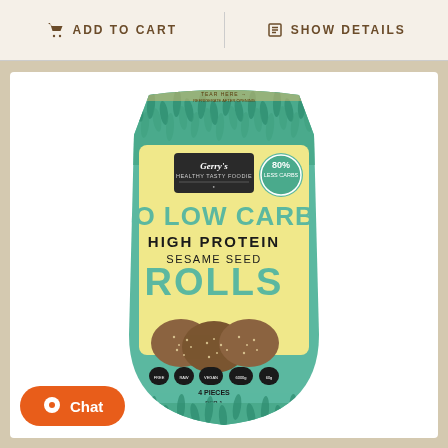ADD TO CART | SHOW DETAILS
[Figure (photo): Gerry's Go Low Carb High Protein Sesame Seed Rolls product package — a bag with teal/green leaf pattern, yellow label showing brand name Gerry's, '80% Less Carbs' badge, and text 'GO LOW CARB HIGH PROTEIN SESAME SEED ROLLS' with sesame seed rolls visible at the bottom, 4 pieces per pack.]
Chat